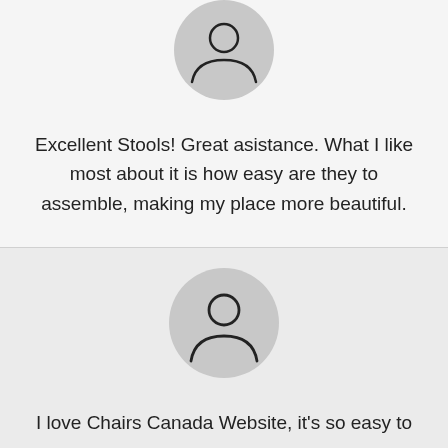[Figure (illustration): Circular avatar icon with a generic person silhouette on a light gray background, top of page]
Excellent Stools! Great asistance. What I like most about it is how easy are they to assemble, making my place more beautiful.
[Figure (illustration): Circular avatar icon with a generic person silhouette on a light gray background, bottom section]
I love Chairs Canada Website, it's so easy to